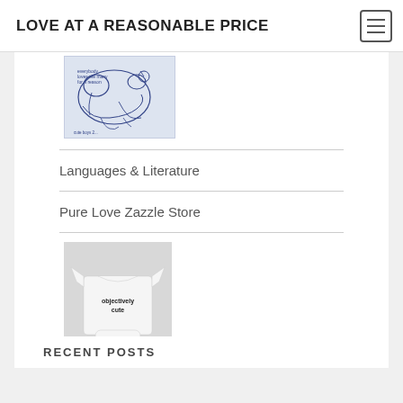LOVE AT A REASONABLE PRICE
[Figure (illustration): Partial view of a sketch/drawing with navy blue line art on white fabric showing animals and text]
Languages & Literature
Pure Love Zazzle Store
[Figure (photo): White baby onesie with text 'objectively cute' printed on it]
RECENT POSTS